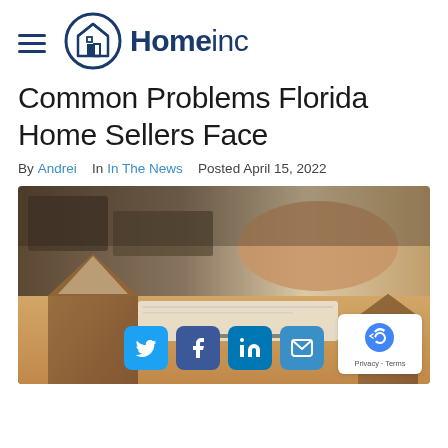Homeinc
Common Problems Florida Home Sellers Face
By Andrei  In In The News  Posted April 15, 2022
[Figure (photo): Photo of wooden house models on a desk with a person gesturing in the background, along with social share buttons (Twitter, Facebook, LinkedIn, Email) overlaid at the bottom]